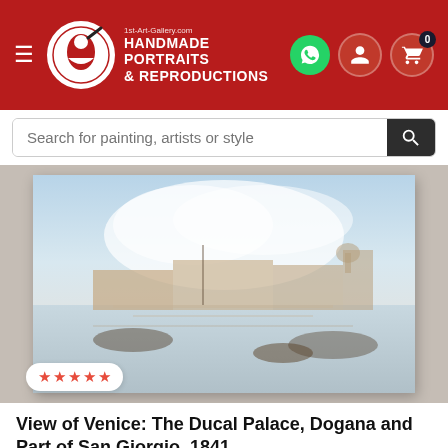[Figure (screenshot): Website header with red background, hamburger menu, 1st-Art-Gallery.com logo with handmade portraits & reproductions text, WhatsApp icon, user icon, and cart icon with 0 badge]
[Figure (screenshot): Search bar with placeholder text 'Search for painting, artists or style' and dark search button]
[Figure (photo): Painting of View of Venice: The Ducal Palace, Dogana and Part of San Giorgio by J.M.W. Turner, 1841, showing hazy impressionistic Venice waterfront scene with gondolas and buildings]
View of Venice: The Ducal Palace, Dogana and Part of San Giorgio, 1841
JOSEPH MALLORD WILLIAM TURNER
PICK SIZE   PICK FRAME
Starting from  $213.75